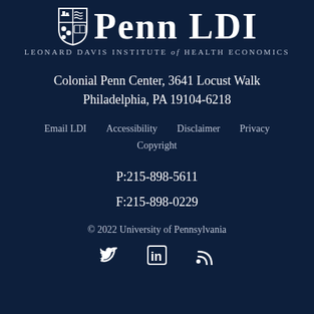[Figure (logo): Penn LDI logo with University of Pennsylvania shield and text 'Penn LDI' and subtitle 'Leonard Davis Institute of Health Economics']
Colonial Penn Center, 3641 Locust Walk
Philadelphia, PA 19104-6218
Email LDI   Accessibility   Disclaimer   Privacy
Copyright
P:215-898-5611
F:215-898-0229
© 2022 University of Pennsylvania
[Figure (illustration): Social media icons: Twitter bird, LinkedIn 'in' box, RSS feed icon]